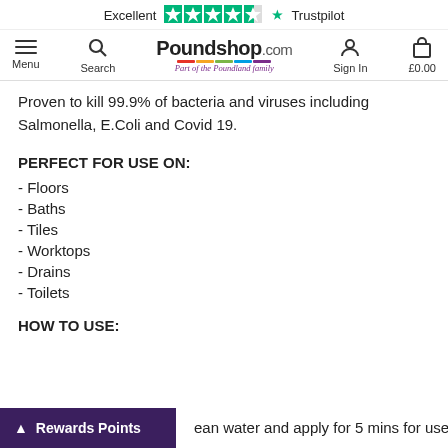Excellent ★★★★½ Trustpilot
[Figure (screenshot): Poundshop.com navigation bar with Menu, Search, Poundshop.com logo, Sign In, and basket £0.00]
Proven to kill 99.9% of bacteria and viruses including Salmonella, E.Coli and Covid 19.
PERFECT FOR USE ON:
- Floors
- Baths
- Tiles
- Worktops
- Drains
- Toilets
HOW TO USE:
ean water and apply for 5 mins for use as
Rewards Points